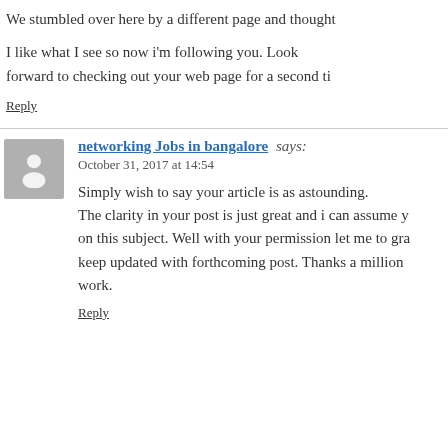We stumbled over here by a different page and thought
I like what I see so now i'm following you. Look forward to checking out your web page for a second ti
Reply
networking Jobs in bangalore says:
October 31, 2017 at 14:54
Simply wish to say your article is as astounding. The clarity in your post is just great and i can assume y on this subject. Well with your permission let me to gra keep updated with forthcoming post. Thanks a million work.
Reply